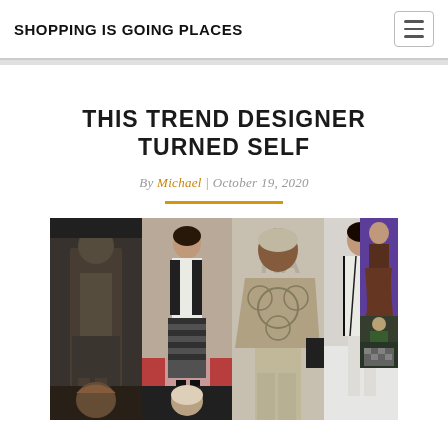SHOPPING IS GOING PLACES
THIS TREND DESIGNER TURNED SELF
By Michael | October 19, 2020
[Figure (photo): Fashion runway collage showing multiple models in various designer outfits on runway and in fashion show settings]